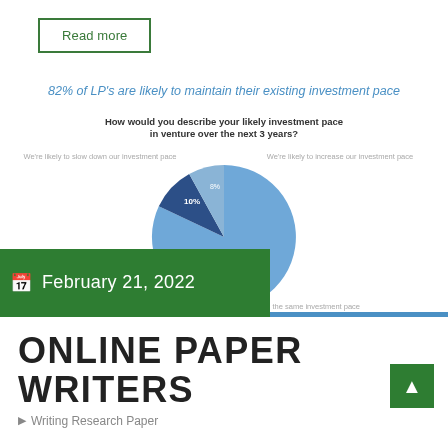Read more
82% of LP's are likely to maintain their existing investment pace
[Figure (pie-chart): How would you describe your likely investment pace in venture over the next 3 years?]
February 21, 2022
ONLINE PAPER WRITERS
Writing Research Paper